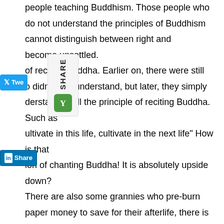people teaching Buddhism. Those people who do not understand the principles of Buddhism cannot distinguish between right and become unsettled. of reciting Buddha. Earlier on, there were still who didn't fully understand, but later, they simply derstand at all the principle of reciting Buddha. Such as ultivate in this life, cultivate in the next life" How is that ion of chanting Buddha! It is absolutely upside down? There are also some grannies who pre-burn paper money to save for their afterlife, there is no limit where this blind can go! However, they are not to blamed, they don't understand! There are people from other sects/school who actually teaches, but their teaching are too advance, such as the mid-way of eight negations, the Yuen-dun-chih-guan, etc., and they are just talking about it. People with ordinary knowledge can't even understand,